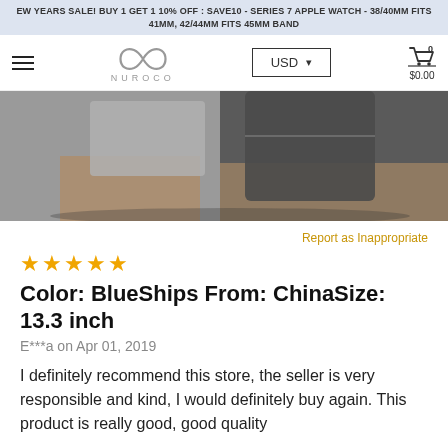EW YEARS SALE! BUY 1 GET 1 10% OFF : SAVE10 - SERIES 7 APPLE WATCH - 38/40MM FITS 41MM, 42/44MM FITS 45MM BAND
[Figure (logo): Nuroco infinity symbol logo with hamburger menu, USD currency selector, and shopping cart showing $0.00]
[Figure (photo): Close-up photo of a grey fabric laptop sleeve/bag on a wooden surface with another grey bag in background]
Report as Inappropriate
★★★★★
Color: BlueShips From: ChinaSize: 13.3 inch
E***a on Apr 01, 2019
I definitely recommend this store, the seller is very responsible and kind, I would definitely buy again. This product is really good, good quality